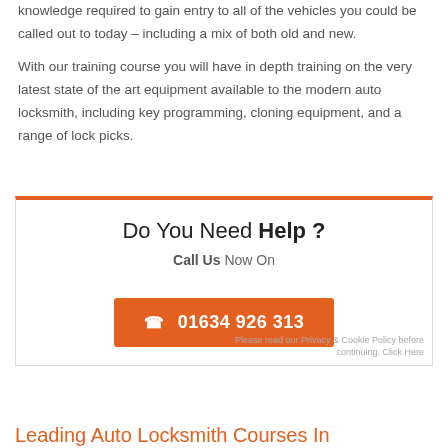knowledge required to gain entry to all of the vehicles you could be called out to today – including a mix of both old and new.
With our training course you will have in depth training on the very latest state of the art equipment available to the modern auto locksmith, including key programming, cloning equipment, and a range of lock picks.
Do You Need Help ?
Call Us Now On
☎ 01634 926 313
Leading Auto Locksmith Courses In